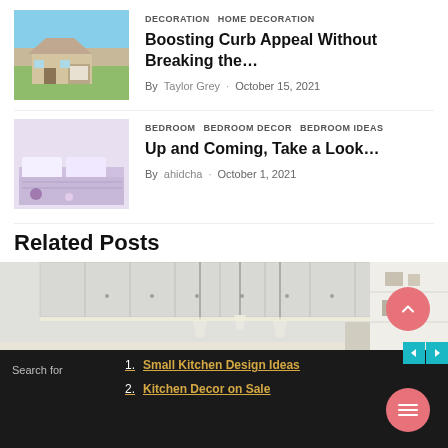[Figure (photo): Photo of a single-story house with garage and green lawn]
DECORATION HOME DECORATION
Boosting Curb Appeal Without Breaking the…
By Taylor Grey · October 15, 2021
[Figure (photo): Photo of a bedroom with modern decor]
BEDROOM BEDROOM DECOR BEDROOM IDEAS
Up and Coming, Take a Look…
By ahidcha · October 1, 2021
Related Posts
[Figure (photo): Photo of a modern kitchen interior with white cabinets and pendant lights]
1. Small Kitchen Design Ideas
2. Kitchen Decor on Sale
Search for